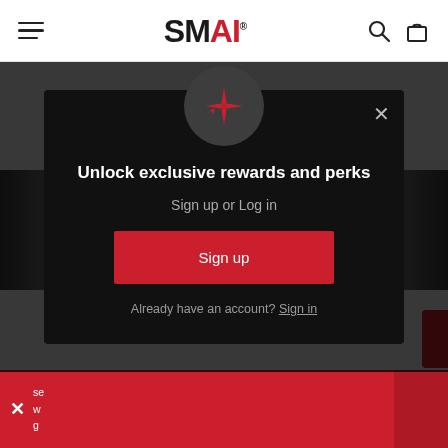[Figure (screenshot): SMAI website header with hamburger menu, SMAI logo in black and red, search icon, and bag icon on white background]
[Figure (screenshot): Website product carousel background showing VIEW OPTIONS black button and dark product panels on sides]
[Figure (screenshot): Modal popup on dark overlay with sparkle icon in circle, unlock exclusive rewards headline, Sign up or Log in subtitle, Sign up red button, and Already have an account? Sign in link]
[Figure (screenshot): Red bottom notification bar with X close button and text partially visible]